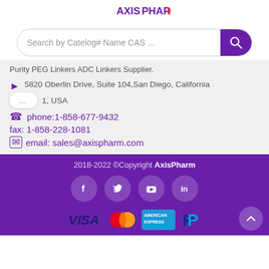[Figure (logo): AxisPharm logo at top center]
Search by Catelog# Name CAS ...
Purity PEG Linkers ADC Linkers Supplier.
5820 Oberlin Drive, Suite 104,San Diego, California
1, USA
phone:1-858-677-9432
fax: 1-858-228-1081
email: sales@axispharm.com
2018-2022 ©Copyright AxisPharm
[Figure (illustration): Social media icons: Facebook, Twitter, YouTube, LinkedIn in white circles on purple background]
[Figure (illustration): Payment method logos: VISA, Mastercard, American Express, PayPal]